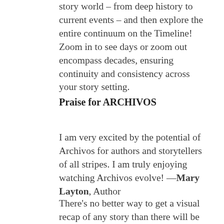story world – from deep history to current events – and then explore the entire continuum on the Timeline! Zoom in to see days or zoom out encompass decades, ensuring continuity and consistency across your story setting.
Praise for ARCHIVOS
I am very excited by the potential of Archivos for authors and storytellers of all stripes. I am truly enjoying watching Archivos evolve! —Mary Layton, Author
There's no better way to get a visual recap of any story than there will be